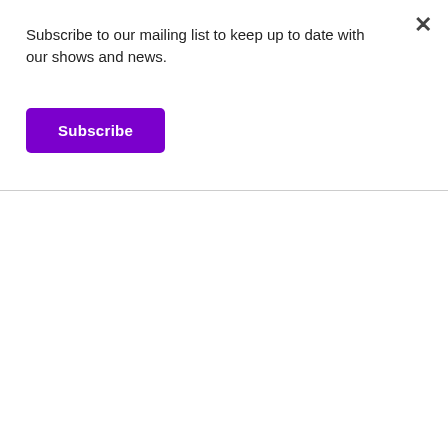Subscribe to our mailing list to keep up to date with our shows and news.
Subscribe
[Figure (illustration): Blue-purple rectangle image placeholder for a show]
The Wind in the Willows - September 2012
[Figure (illustration): Light blue rectangle placeholder with text 'Image Coming Soon']
[Figure (logo): reCAPTCHA badge with Privacy and Terms text]